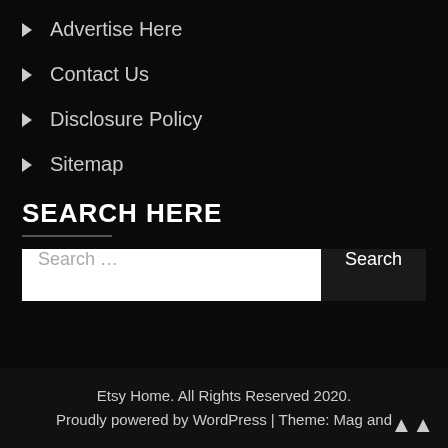Advertise Here
Contact Us
Disclosure Policy
Sitemap
SEARCH HERE
Search ...
Etsy Home. All Rights Reserved 2020. Proudly powered by WordPress | Theme: Mag and